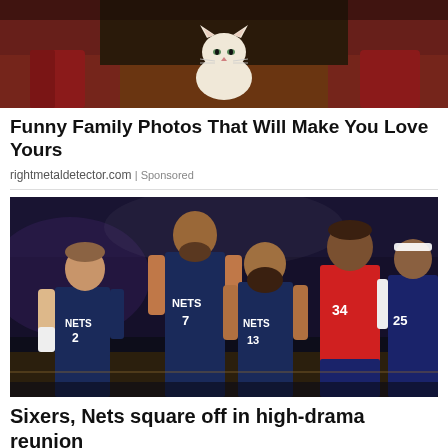[Figure (photo): A cat sitting between two people on a bed, viewed from behind. The cat is white/cream colored and sits centered between legs wearing red/maroon pants.]
Funny Family Photos That Will Make You Love Yours
rightmetaldetector.com | Sponsored
[Figure (photo): NBA basketball players on court. Three Brooklyn Nets players in dark navy uniforms with numbers 2, 7, and 13 facing two Philadelphia 76ers players in red and navy uniforms. Players visible include Blake Griffin (#2), Kevin Durant (#7), James Harden (#13) for the Nets.]
Sixers, Nets square off in high-drama reunion